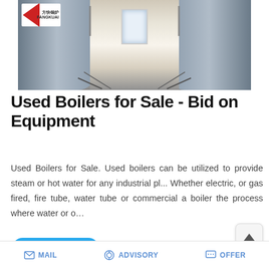[Figure (photo): Interior of an industrial boiler room showing two large cylindrical steel boiler tanks on either side with pipes and equipment, a corridor between them leading to a window at the back. A Chinese company logo with red triangle is visible in the top-left corner.]
Used Boilers for Sale - Bid on Equipment
Used Boilers for Sale. Used boilers can be utilized to provide steam or hot water for any industrial pl... Whether electric, or gas fired, fire tube, water tube or commercial a boiler the process where water or o…
MAIL   ADVISORY   OFFER